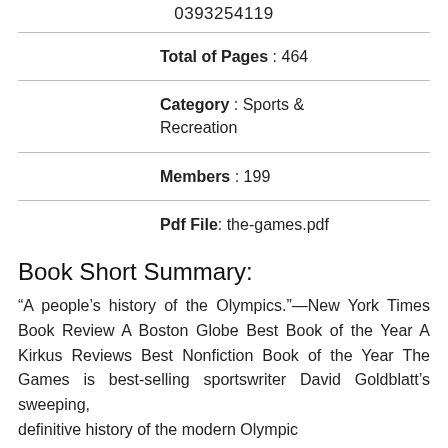0393254119
Total of Pages : 464
Category : Sports & Recreation
Members : 199
Pdf File: the-games.pdf
Book Short Summary:
“A people’s history of the Olympics.”—New York Times Book Review A Boston Globe Best Book of the Year A Kirkus Reviews Best Nonfiction Book of the Year The Games is best-selling sportswriter David Goldblatt’s sweeping, definitive history of the modern Olympic